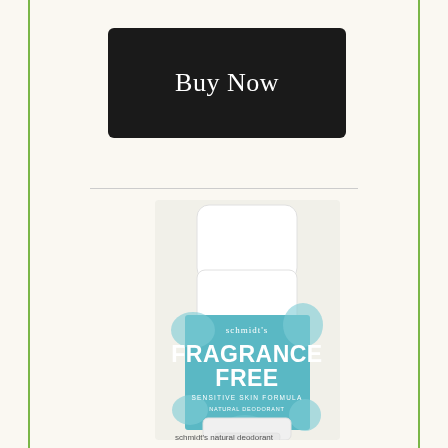[Figure (other): Buy Now button — dark black rounded rectangle with white text reading 'Buy Now']
[Figure (photo): Schmidt's Fragrance Free natural deodorant stick in a white container with a teal/blue label. Label reads: schmidt's, FRAGRANCE FREE, SENSITIVE SKIN FORMULA, NATURAL DEODORANT, NET WT 3.25 OZ (92 G)]